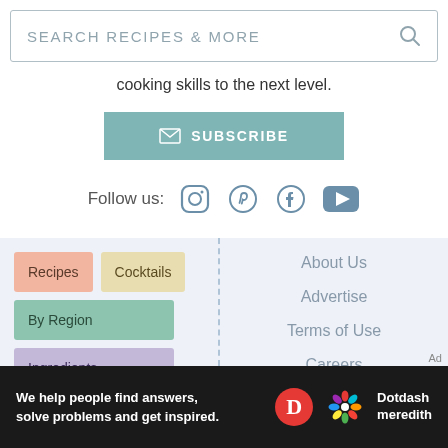SEARCH RECIPES & MORE
cooking skills to the next level.
SUBSCRIBE
Follow us:
Recipes
Cocktails
By Region
Ingredients
Occasions
About Us
Advertise
Terms of Use
Careers
Anti-Racism Pledge
Editorial Guidelines
Ad
We help people find answers, solve problems and get inspired. Dotdash meredith